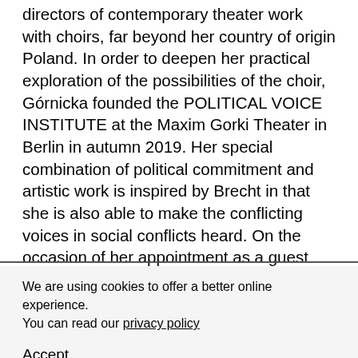directors of contemporary theater work with choirs, far beyond her country of origin Poland. In order to deepen her practical exploration of the possibilities of the choir, Górnicka founded the POLITICAL VOICE INSTITUTE at the Maxim Gorki Theater in Berlin in autumn 2019. Her special combination of political commitment and artistic work is inspired by Brecht in that she is also able to make the conflicting voices in social conflicts heard. On the occasion of her appointment as a guest professor, a joint reception by the University and the City of Leipzig will take place on Tuesday, June 7, 2022 at 6:00 p.m. in the ballroom of the Old Town Hall, Markt 1, 04109 Leipzig. In addition to the words of welcome from the city and University, a laudation for the visiting professor by prof.
We are using cookies to offer a better online experience. You can read our privacy policy
Accept